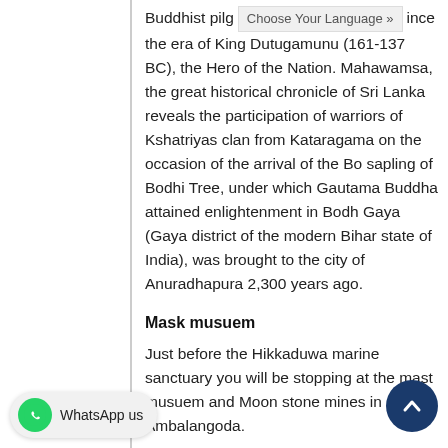Buddhist pilgrimage since the era of King Dutugamunu (161-137 BC), the Hero of the Nation. Mahawamsa, the great historical chronicle of Sri Lanka reveals the participation of warriors of Kshatriyas clan from Kataragama on the occasion of the arrival of the Bo sapling of Bodhi Tree, under which Gautama Buddha attained enlightenment in Bodh Gaya (Gaya district of the modern Bihar state of India), was brought to the city of Anuradhapura 2,300 years ago.
Mask musuem
Just before the Hikkaduwa marine sanctuary you will be stopping at the mast musuem and Moon stone mines in Ambalangoda.
Stilt fishermen
...the unique art of fishing practised only in southern... The fishermen sit on a pole planed on the...